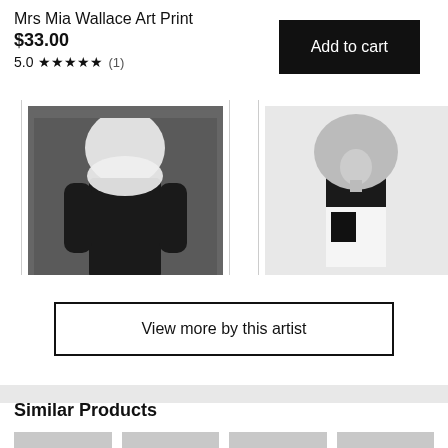Mrs Mia Wallace Art Print
$33.00
5.0 ★★★★★  (1)
Add to cart
[Figure (photo): Black and white art print showing a woman in a dark dress with a white floral/ruffled top piece, framed in white]
[Figure (photo): Black and white art print showing a woman in black and white outfit with a large floral/textured headpiece, framed in white]
[Figure (photo): Partially visible grey thumbnail of a third art print]
View more by this artist
Similar Products
[Figure (photo): Grey placeholder thumbnail for similar product 1]
[Figure (photo): Grey placeholder thumbnail for similar product 2]
[Figure (photo): Grey placeholder thumbnail for similar product 3]
[Figure (photo): Grey placeholder thumbnail for similar product 4]